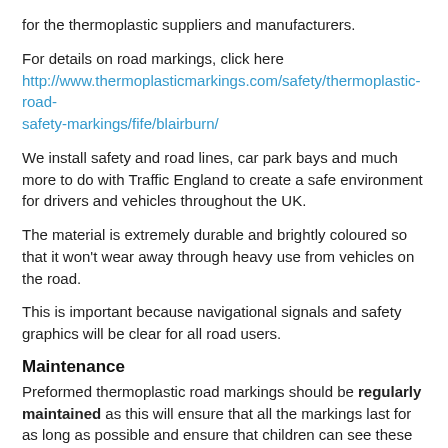for the thermoplastic suppliers and manufacturers.
For details on road markings, click here http://www.thermoplasticmarkings.com/safety/thermoplastic-road-safety-markings/fife/blairburn/
We install safety and road lines, car park bays and much more to do with Traffic England to create a safe environment for drivers and vehicles throughout the UK.
The material is extremely durable and brightly coloured so that it won't wear away through heavy use from vehicles on the road.
This is important because navigational signals and safety graphics will be clear for all road users.
Maintenance
Preformed thermoplastic road markings should be regularly maintained as this will ensure that all the markings last for as long as possible and ensure that children can see these graphics clearly.